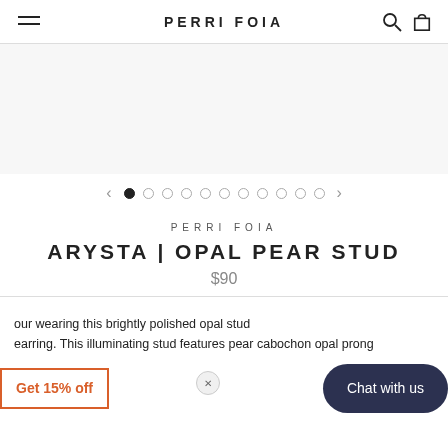PERRI FOIA
[Figure (other): Product image area - light gray placeholder for jewelry photo]
[Figure (other): Image carousel navigation with left/right arrows and 11 dots, first dot active]
PERRI FOIA
ARYSTA | OPAL PEAR STUD
$90
our wearing this brightly polished opal stud earring. This illuminating stud features pear cabochon opal prong
Get 15% off
Chat with us